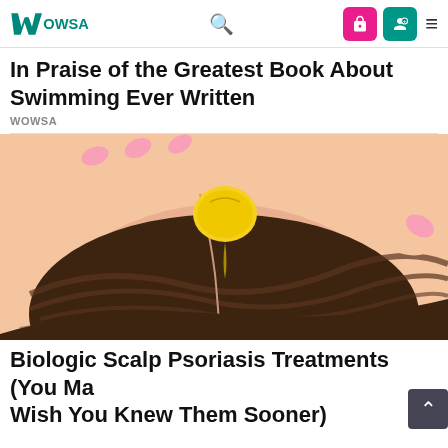WOWSA — navigation header with logo, search, login buttons, and menu
In Praise of the Greatest Book About Swimming Ever Written
WOWSA
[Figure (illustration): Illustration of hands applying a yellow/gold substance (like lemon or oil) to the scalp of a person with dark brown hair, related to scalp psoriasis treatments.]
Biologic Scalp Psoriasis Treatments (You Ma Wish You Knew Them Sooner)